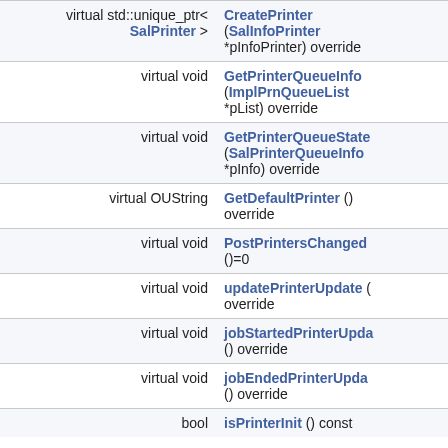| Return type | Method |
| --- | --- |
| virtual std::unique_ptr< SalPrinter > | CreatePrinter (SalInfoPrinter *pInfoPrinter) override |
| virtual void | GetPrinterQueueInfo (ImplPrnQueueList *pList) override |
| virtual void | GetPrinterQueueState (SalPrinterQueueInfo *pInfo) override |
| virtual OUString | GetDefaultPrinter () override |
| virtual void | PostPrintersChanged ()=0 |
| virtual void | updatePrinterUpdate override |
| virtual void | jobStartedPrinterUpdate () override |
| virtual void | jobEndedPrinterUpdate () override |
| bool | isPrinterInit () const |